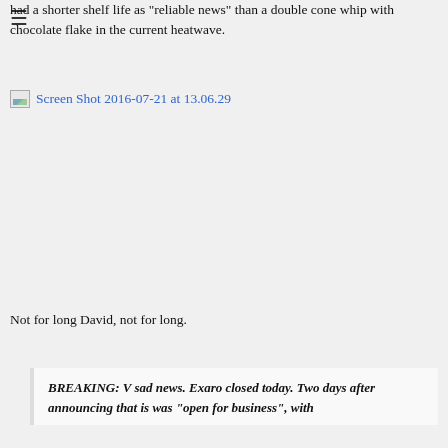≡
had a shorter shelf life as "reliable news" than a double cone whip with chocolate flake in the current heatwave.
[Figure (screenshot): Broken image placeholder with link text: Screen Shot 2016-07-21 at 13.06.29]
Not for long David, not for long.
BREAKING: V sad news. Exaro closed today. Two days after announcing that is was “open for business”, with